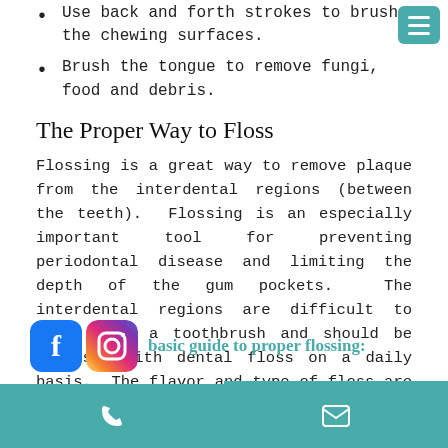Use back and forth strokes to brush the chewing surfaces.
Brush the tongue to remove fungi, food and debris.
The Proper Way to Floss
Flossing is a great way to remove plaque from the interdental regions (between the teeth).  Flossing is an especially important tool for preventing periodontal disease and limiting the depth of the gum pockets.  The interdental regions are difficult to reach with a toothbrush and should be cleansed with dental floss on a daily basis.  The flavor and type of floss are unimportant; choose floss that will be easy and pleasant to use.
basic guide to proper flossing: